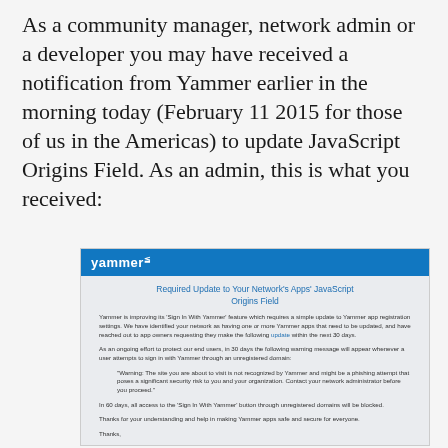As a community manager, network admin or a developer you may have received a notification from Yammer earlier in the morning today (February 11 2015 for those of us in the Americas) to update JavaScript Origins Field. As an admin, this is what you received:
[Figure (screenshot): Screenshot of a Yammer email notification with blue header showing the Yammer logo, and email body with title 'Required Update to Your Network's Apps' JavaScript Origins Field' and body text describing the update requirement for JavaScript Origins Field, including a warning message blockquote and closing text.]